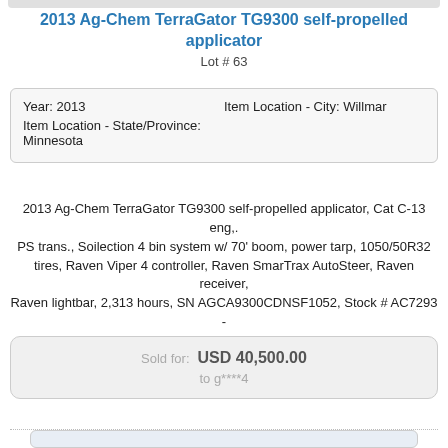2013 Ag-Chem TerraGator TG9300 self-propelled applicator
Lot # 63
| Year: 2013 | Item Location - City: Willmar |
| Item Location - State/Province: Minnesota |  |
2013 Ag-Chem TerraGator TG9300 self-propelled applicator, Cat C-13 eng,. PS trans., Soilection 4 bin system w/ 70' boom, power tarp, 1050/50R32 tires, Raven Viper 4 controller, Raven SmarTrax AutoSteer, Raven receiver, Raven lightbar, 2,313 hours, SN AGCA9300CDNSF1052, Stock # AC7293 - blown hyd. line at oil cooler
Item Location: Willmar, Minnesota
Sold for: USD 40,500.00
to g****4
[Figure (photo): Partial view of equipment image at bottom of page]